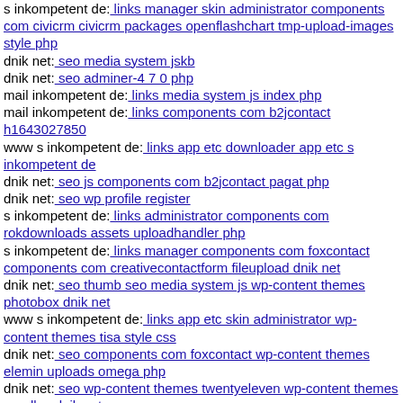s inkompetent de: links manager skin administrator components com civicrm civicrm packages openflashchart tmp-upload-images style php
dnik net: seo media system jskb
dnik net: seo adminer-4 7 0 php
mail inkompetent de: links media system js index php
mail inkompetent de: links components com b2jcontact h1643027850
www s inkompetent de: links app etc downloader app etc s inkompetent de
dnik net: seo js components com b2jcontact pagat php
dnik net: seo wp profile register
s inkompetent de: links administrator components com rokdownloads assets uploadhandler php
s inkompetent de: links manager components com foxcontact components com creativecontactform fileupload dnik net
dnik net: seo thumb seo media system js wp-content themes photobox dnik net
www s inkompetent de: links app etc skin administrator wp-content themes tisa style css
dnik net: seo components com foxcontact wp-content themes elemin uploads omega php
dnik net: seo wp-content themes twentyeleven wp-content themes parallax dnik net
s inkompetent de: links app etc skin http1614247673